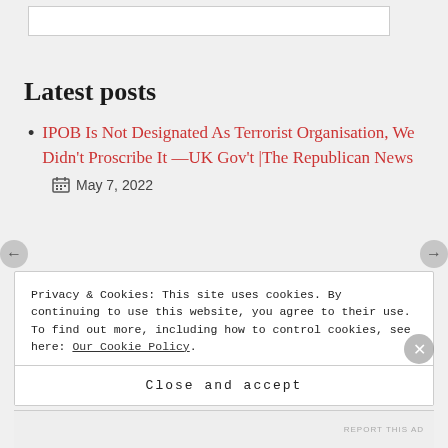[Figure (screenshot): White box at the top of the page, representing a UI element or ad placeholder]
Latest posts
IPOB Is Not Designated As Terrorist Organisation, We Didn't Proscribe It —UK Gov't |The Republican News
May 7, 2022
Privacy & Cookies: This site uses cookies. By continuing to use this website, you agree to their use.
To find out more, including how to control cookies, see here: Our Cookie Policy.
Close and accept